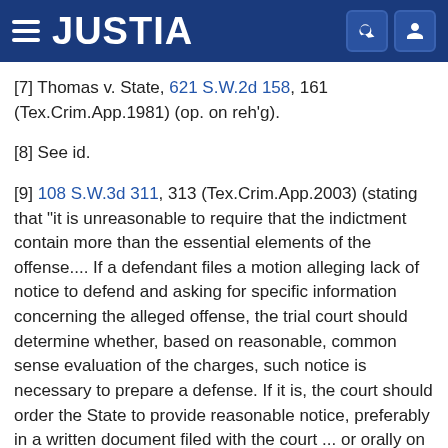JUSTIA
[7] Thomas v. State, 621 S.W.2d 158, 161 (Tex.Crim.App.1981) (op. on reh'g).
[8] See id.
[9] 108 S.W.3d 311, 313 (Tex.Crim.App.2003) (stating that "it is unreasonable to require that the indictment contain more than the essential elements of the offense.... If a defendant files a motion alleging lack of notice to defend and asking for specific information concerning the alleged offense, the trial court should determine whether, based on reasonable, common sense evaluation of the charges, such notice is necessary to prepare a defense. If it is, the court should order the State to provide reasonable notice, preferably in a written document filed with the court ... or orally on the record").